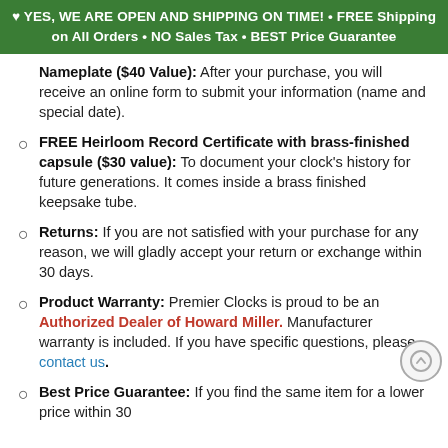♥ YES, WE ARE OPEN AND SHIPPING ON TIME! • FREE Shipping on All Orders • NO Sales Tax • BEST Price Guarantee
Nameplate ($40 Value): After your purchase, you will receive an online form to submit your information (name and special date).
FREE Heirloom Record Certificate with brass-finished capsule ($30 value): To document your clock's history for future generations. It comes inside a brass finished keepsake tube.
Returns: If you are not satisfied with your purchase for any reason, we will gladly accept your return or exchange within 30 days.
Product Warranty: Premier Clocks is proud to be an Authorized Dealer of Howard Miller. Manufacturer warranty is included. If you have specific questions, please contact us.
Best Price Guarantee: If you find the same item for a lower price within 30